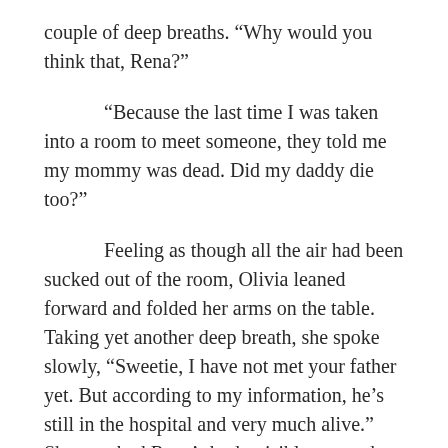couple of deep breaths. “Why would you think that, Rena?”
“Because the last time I was taken into a room to meet someone, they told me my mommy was dead. Did my daddy die too?”
Feeling as though all the air had been sucked out of the room, Olivia leaned forward and folded her arms on the table. Taking yet another deep breath, she spoke slowly, “Sweetie, I have not met your father yet. But according to my information, he’s still in the hospital and very much alive.” She watched Rena’s body visibly sag and reached out and squeezed her hand. This poor kid had been in a ball of knots thinking she was about to hear about the death of her surviving parent. “When was the last time you got to visit your